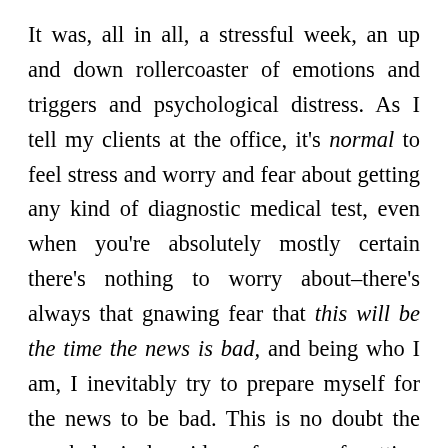It was, all in all, a stressful week, an up and down rollercoaster of emotions and triggers and psychological distress. As I tell my clients at the office, it's normal to feel stress and worry and fear about getting any kind of diagnostic medical test, even when you're absolutely mostly certain there's nothing to worry about–there's always that gnawing fear that this will be the time the news is bad, and being who I am, I inevitably try to prepare myself for the news to be bad. This is no doubt the psychological residue of years of getting HIV tests and nervously waiting the two or more weeks to get the